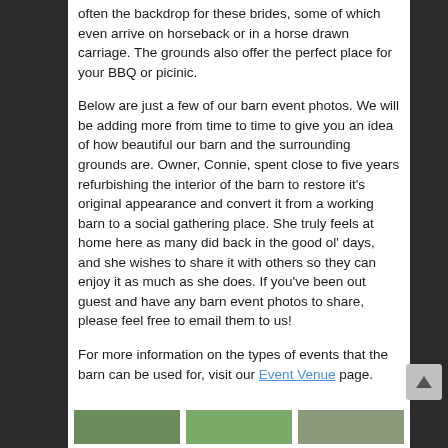often the backdrop for these brides, some of which even arrive on horseback or in a horse drawn carriage. The grounds also offer the perfect place for your BBQ or picinic.
Below are just a few of our barn event photos. We will be adding more from time to time to give you an idea of how beautiful our barn and the surrounding grounds are. Owner, Connie, spent close to five years refurbishing the interior of the barn to restore it's original appearance and convert it from a working barn to a social gathering place. She truly feels at home here as many did back in the good ol' days, and she wishes to share it with others so they can enjoy it as much as she does. If you've been out guest and have any barn event photos to share, please feel free to email them to us!
For more information on the types of events that the barn can be used for, visit our Event Venue page.
[Figure (photo): Three small thumbnail images of barn event photos at the bottom of the page]